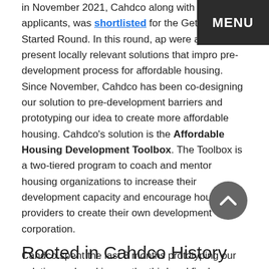In November 2021, Cahdco along with 28 other applicants, was shortlisted for the Getting Started Round. In this round, applicants were asked to present locally relevant solutions that improve the pre-development process for affordable housing. Since November, Cahdco has been co-designing our solution to pre-development barriers and prototyping our idea to create more affordable housing. Cahdco's solution is the Affordable Housing Development Toolbox. The Toolbox is a two-tiered program to coach and mentor housing organizations to increase their development capacity and encourage housing providers to create their own development corporation.
Cahdco spent the last 8 months prototyping our solution and working on the third and final application for incubation funding. If successful, Cahdco will receive funding to implement our solution from September 2022 to April 2024.
[Figure (other): Scroll to top button - circular dark grey button with upward chevron arrow]
Rooted in Cahdco History